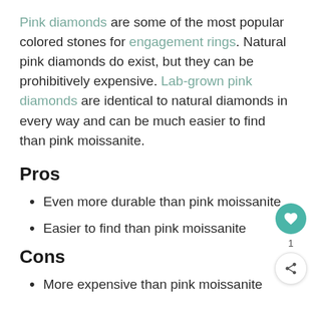Pink diamonds are some of the most popular colored stones for engagement rings. Natural pink diamonds do exist, but they can be prohibitively expensive. Lab-grown pink diamonds are identical to natural diamonds in every way and can be much easier to find than pink moissanite.
Pros
Even more durable than pink moissanite
Easier to find than pink moissanite
Cons
More expensive than pink moissanite